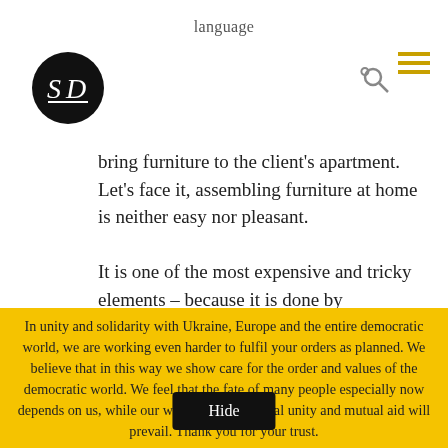language
[Figure (logo): Circular black logo with stylized 'S' and 'D' letters in white on black background]
bring furniture to the client's apartment. Let's face it, assembling furniture at home is neither easy nor pleasant.
It is one of the most expensive and tricky elements – because it is done by professional carpenters, who are hard to find on the market.
In unity and solidarity with Ukraine, Europe and the entire democratic world, we are working even harder to fulfil your orders as planned. We believe that in this way we show care for the order and values of the democratic world. We feel that the fate of many people especially now depends on us, while our work, support, global unity and mutual aid will prevail. Thank you for your trust.